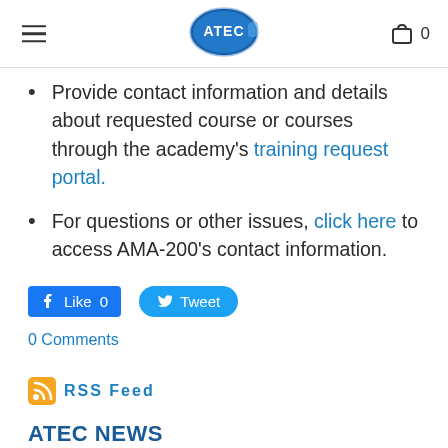ATEC logo, hamburger menu, shopping cart with 0 items
Provide contact information and details about requested course or courses through the academy's training request portal.
For questions or other issues, click here to access AMA-200's contact information.
[Figure (other): Facebook Like button (count: 0) and Twitter Tweet button]
0 Comments
[Figure (other): RSS feed icon with RSS Feed label]
ATEC NEWS